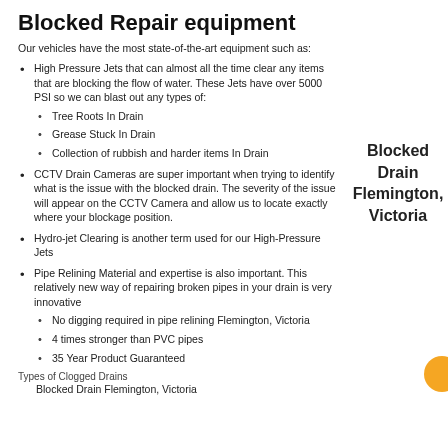Blocked Repair equipment
Our vehicles have the most state-of-the-art equipment such as:
High Pressure Jets that can almost all the time clear any items that are blocking the flow of water. These Jets have over 5000 PSI so we can blast out any types of:
Tree Roots In Drain
Grease Stuck In Drain
Collection of rubbish and harder items In Drain
Blocked Drain Flemington, Victoria
CCTV Drain Cameras are super important when trying to identify what is the issue with the blocked drain. The severity of the issue will appear on the CCTV Camera and allow us to locate exactly where your blockage position.
Hydro-jet Clearing is another term used for our High-Pressure Jets
Pipe Relining Material and expertise is also important. This relatively new way of repairing broken pipes in your drain is very innovative
No digging required in pipe relining Flemington, Victoria
4 times stronger than PVC pipes
35 Year Product Guaranteed
Types of Clogged Drains
Blocked Drain Flemington, Victoria